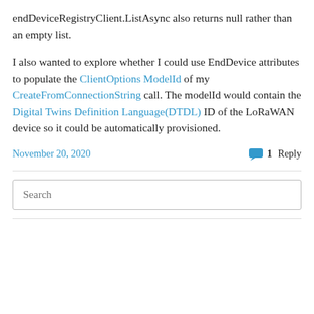endDeviceRegistryClient.ListAsync also returns null rather than an empty list.
I also wanted to explore whether I could use EndDevice attributes to populate the ClientOptions ModelId of my CreateFromConnectionString call. The modelId would contain the Digital Twins Definition Language(DTDL) ID of the LoRaWAN device so it could be automatically provisioned.
November 20, 2020
1 Reply
Search